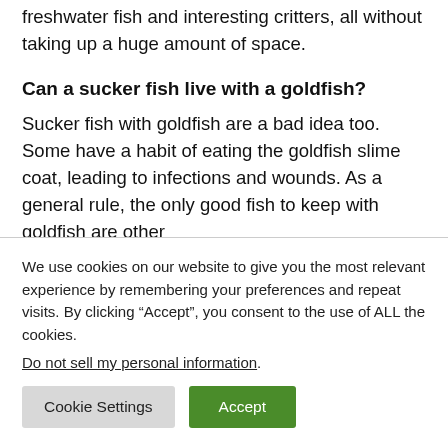freshwater fish and interesting critters, all without taking up a huge amount of space.
Can a sucker fish live with a goldfish?
Sucker fish with goldfish are a bad idea too. Some have a habit of eating the goldfish slime coat, leading to infections and wounds. As a general rule, the only good fish to keep with goldfish are other
We use cookies on our website to give you the most relevant experience by remembering your preferences and repeat visits. By clicking “Accept”, you consent to the use of ALL the cookies.
Do not sell my personal information.